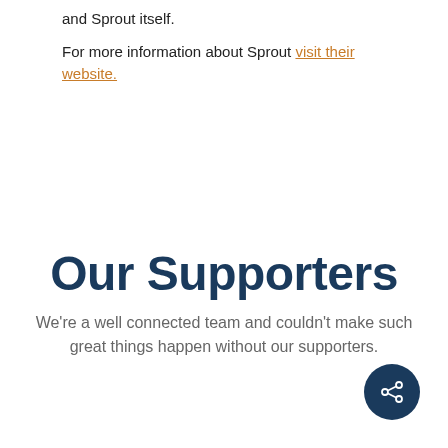and Sprout itself.

For more information about Sprout visit their website.
Our Supporters
We're a well connected team and couldn't make such great things happen without our supporters.